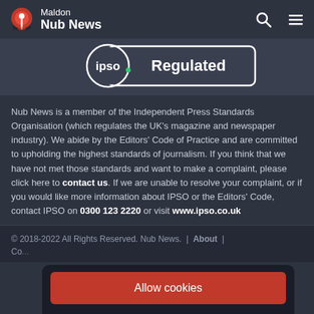Maldon Nub News
[Figure (logo): IPSO Regulated badge — white circle with IPSO text and green dot, on dark background with white rectangular border]
Nub News is a member of the Independent Press Standards Organisation (which regulates the UK's magazine and newspaper industry). We abide by the Editors' Code of Practice and are committed to upholding the highest standards of journalism. If you think that we have not met those standards and want to make a complaint, please click here to contact us. If we are unable to resolve your complaint, or if you would like more information about IPSO or the Editors' Code, contact IPSO on 0300 123 2220 or visit www.ipso.co.uk
© 2018-2022 All Rights Reserved. Nub News. | About | Co...
Allow cookies